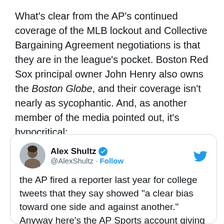What's clear from the AP's continued coverage of the MLB lockout and Collective Bargaining Agreement negotiations is that they are in the league's pocket. Boston Red Sox principal owner John Henry also owns the Boston Globe, and their coverage isn't nearly as sycophantic. And, as another member of the media pointed out, it's hypocritical:
[Figure (screenshot): Embedded tweet from @AlexShultz with verified badge and Twitter bird logo. Tweet text reads: 'the AP fired a reporter last year for college tweets that they say showed "a clear bias toward one side and against another." Anyway here's the AP Sports account giving a completely unbiased tidbit about the']